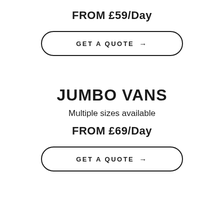FROM £59/Day
GET A QUOTE →
JUMBO VANS
Multiple sizes available
FROM £69/Day
GET A QUOTE →